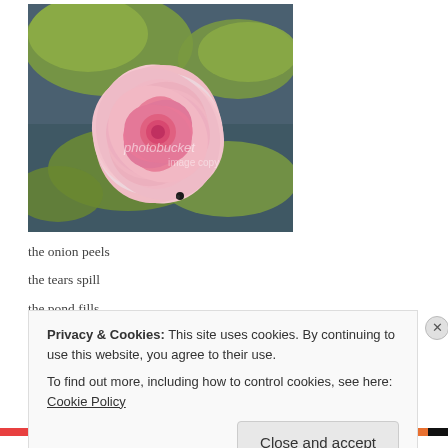[Figure (photo): A pink water lily flower floating on a pond among green lily pads. A Photobucket watermark is visible over the image.]
the onion peels
the tears spill
the pond fills
Privacy & Cookies: This site uses cookies. By continuing to use this website, you agree to their use.
To find out more, including how to control cookies, see here: Cookie Policy
Close and accept